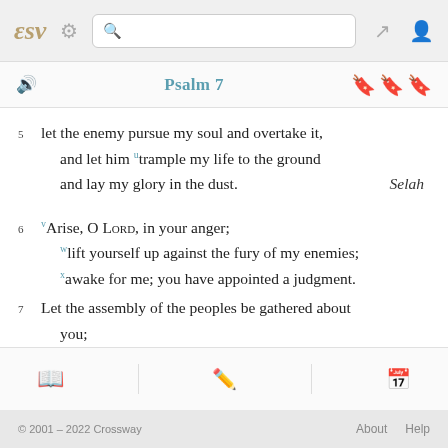ESV | Psalm 7
5 let the enemy pursue my soul and overtake it, and let him trample my life to the ground and lay my glory in the dust. Selah
6 Arise, O LORD, in your anger; lift yourself up against the fury of my enemies; awake for me; you have appointed a judgment.
7 Let the assembly of the peoples be gathered about you;
© 2001 – 2022 Crossway   About   Help